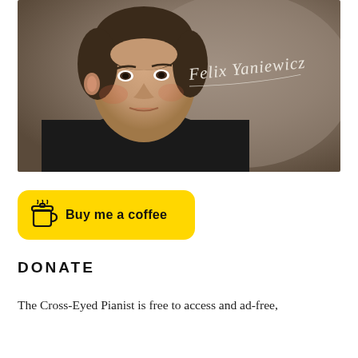[Figure (illustration): Portrait painting of Felix Yaniewicz, a man in early 19th century dress with dark coat and white cravat, with cursive signature 'Felix Yaniewicz' overlaid on the background]
[Figure (other): Yellow 'Buy me a coffee' button with coffee cup icon]
DONATE
The Cross-Eyed Pianist is free to access and ad-free,